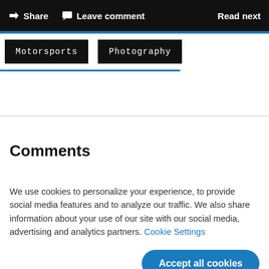Share   Leave comment   Read next
Motorsports
Photography
Comments
We use cookies to personalize your experience, to provide social media features and to analyze our traffic. We also share information about your use of our site with our social media, advertising and analytics partners. Cookie Settings
Accept all cookies